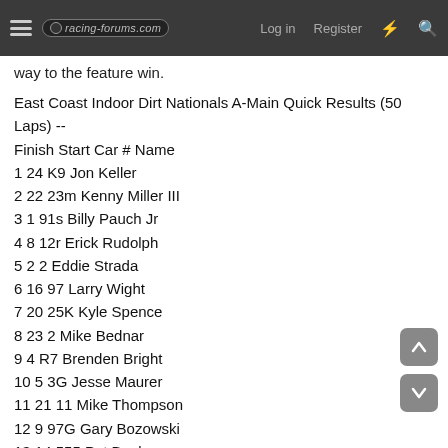racing-forums.com  Log in  Register
way to the feature win.
East Coast Indoor Dirt Nationals A-Main Quick Results (50 Laps) --
Finish Start Car # Name
1 24 K9 Jon Keller
2 22 23m Kenny Miller III
3 1 91s Billy Pauch Jr
4 8 12r Erick Rudolph
5 2 2 Eddie Strada
6 16 97 Larry Wight
7 20 25K Kyle Spence
8 23 2 Mike Bednar
9 4 R7 Brenden Bright
10 5 3G Jesse Maurer
11 21 11 Mike Thompson
12 9 97G Gary Bozowski
13 14 555 Pat Bealer
14 17 17m Christian Bruno